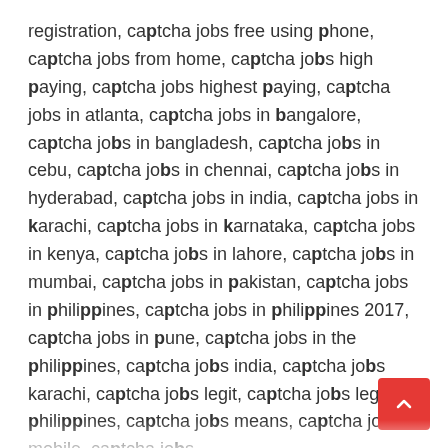registration, captcha jobs free using phone, captcha jobs from home, captcha jobs high paying, captcha jobs highest paying, captcha jobs in atlanta, captcha jobs in bangalore, captcha jobs in bangladesh, captcha jobs in cebu, captcha jobs in chennai, captcha jobs in hyderabad, captcha jobs in india, captcha jobs in karachi, captcha jobs in karnataka, captcha jobs in kenya, captcha jobs in lahore, captcha jobs in mumbai, captcha jobs in pakistan, captcha jobs in philippines, captcha jobs in philippines 2017, captcha jobs in pune, captcha jobs in the philippines, captcha jobs india, captcha jobs karachi, captcha jobs legit, captcha jobs legit philippines, captcha jobs means, captcha jobs mobile, captcha jobs